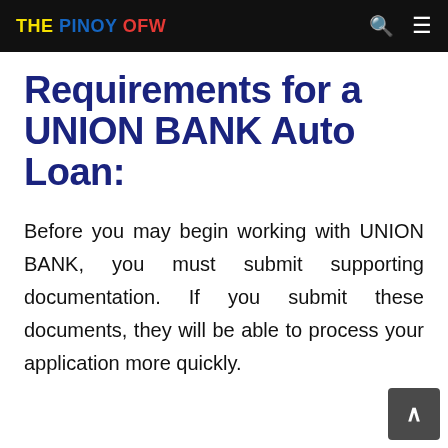THE PINOY OFW
Requirements for a UNION BANK Auto Loan:
Before you may begin working with UNION BANK, you must submit supporting documentation. If you submit these documents, they will be able to process your application more quickly.